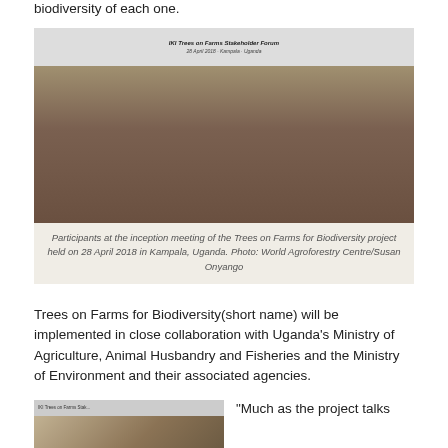biodiversity of each one.
[Figure (photo): Group photo of participants at the inception meeting of the Trees on Farms for Biodiversity project, held on 28 April 2018 in Kampala, Uganda. A banner reading 'IKI Trees on Farms Stakeholder Forum' is visible in the background.]
Participants at the inception meeting of the Trees on Farms for Biodiversity project held on 28 April 2018 in Kampala, Uganda. Photo: World Agroforestry Centre/Susan Onyango
Trees on Farms for Biodiversity(short name) will be implemented in close collaboration with Uganda's Ministry of Agriculture, Animal Husbandry and Fisheries and the Ministry of Environment and their associated agencies.
[Figure (photo): Partial view of a banner reading 'IKI Trees on Farms Stakeholder Forum' at the inception meeting.]
“Much as the project talks